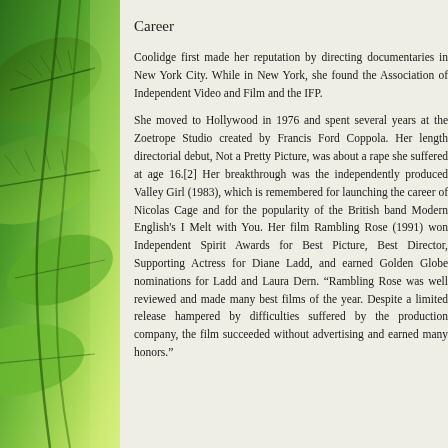[Figure (photo): Green leaves photo on the left side of the page, featuring bright green foliage with natural lighting creating a gradient from dark green to yellow-green]
Career
Coolidge first made her reputation by directing documentaries in New York City. While in New York, she found the Association of Independent Video and Film and the IFP.
She moved to Hollywood in 1976 and spent several years at the Zoetrope Studio created by Francis Ford Coppola. Her length directorial debut, Not a Pretty Picture, was about a rape she suffered at age 16.[2] Her breakthrough was the independently produced Valley Girl (1983), which is remembered for launching the career of Nicolas Cage and for the popularity of the British band Modern English's I Melt with You. Her film Rambling Rose (1991) won Independent Spirit Awards for Best Picture, Best Director, Supporting Actress for Diane Ladd, and earned Golden Globe nominations for Ladd and Laura Dern. "Rambling Rose was well reviewed and made many best films of the year. Despite a limited release hampered by difficulties suffered by the production company, the film succeeded without advertising and earned many honors."